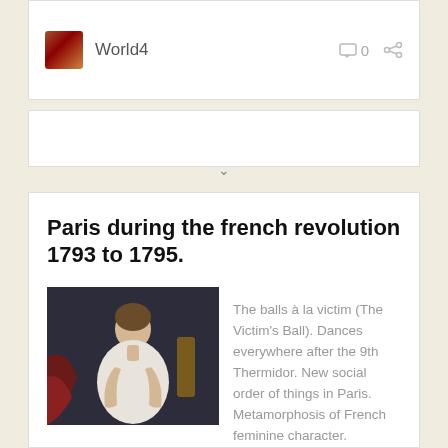World4
[Figure (screenshot): Collapsed/folded card area with a chevron arrow pointing down]
Paris during the french revolution 1793 to 1795.
[Figure (photo): Neoclassical portrait painting of a woman in a white empire-waist dress seated against a dark background with red drapery]
The balls à la victim (The Victim's Ball). Dances everywhere after the 9th Thermidor. New social order of things in Paris. Metamorphosis of French feminine character.